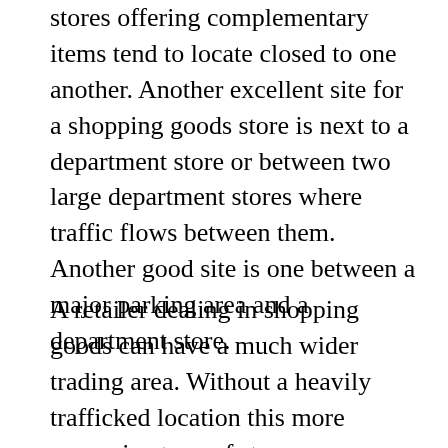stores offering complementary items tend to locate closed to one another. Another excellent site for a shopping goods store is next to a department store or between two large department stores where traffic flows between them. Another good site is one between a major parking area and a department store.
A retailer dealing in shopping goods can have a much wider trading area. Without a heavily trafficked location this more expensive type of store can generate its own traffic. In this case, a location with low traffic density but easy accessibility from a residential area is a satisfactory site. The consumer buys these goods infrequently and deliberately plans these